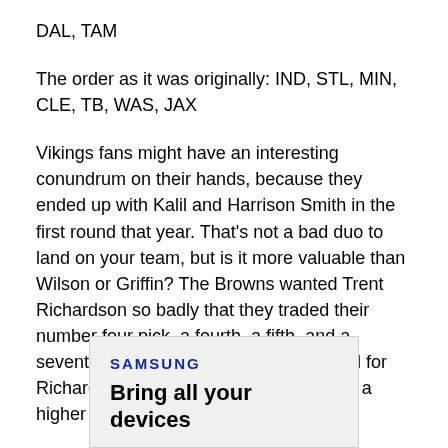DAL, TAM
The order as it was originally: IND, STL, MIN, CLE, TB, WAS, JAX
Vikings fans might have an interesting conundrum on their hands, because they ended up with Kalil and Harrison Smith in the first round that year. That's not a bad duo to land on your team, but is it more valuable than Wilson or Griffin? The Browns wanted Trent Richardson so badly that they traded their number four pick, a fourth, a fifth, and a seventh. They would not repeat that deal for Richardson, but they'd have to pay even a higher price for Wilson or Griffin.
[Figure (infographic): Samsung advertisement box with logo and tagline 'Bring all your devices']